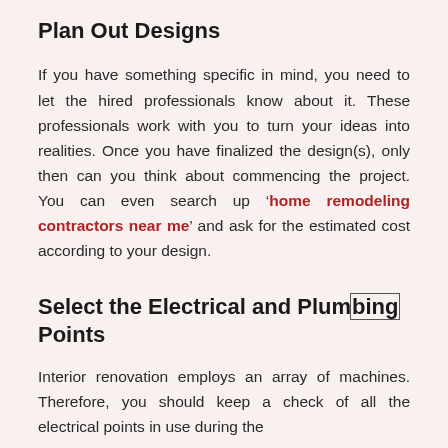Plan Out Designs
If you have something specific in mind, you need to let the hired professionals know about it. These professionals work with you to turn your ideas into realities. Once you have finalized the design(s), only then can you think about commencing the project. You can even search up ‘home remodeling contractors near me’ and ask for the estimated cost according to your design.
Select the Electrical and Plumbing Points
Interior renovation employs an array of machines. Therefore, you should keep a check of all the electrical points in use during the